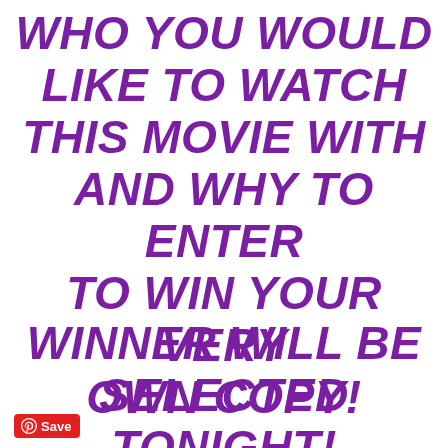WHO YOU WOULD LIKE TO WATCH THIS MOVIE WITH AND WHY TO ENTER TO WIN YOUR VERY OWN COPY!
WINNER WILL BE SELECTED TONIGHT!
[Figure (logo): Pinterest Save button badge in red]